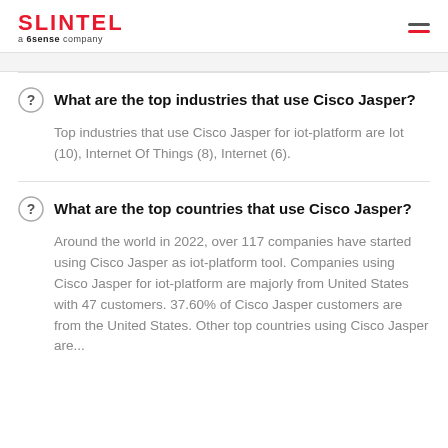SLINTEL a 6sense company
What are the top industries that use Cisco Jasper?
Top industries that use Cisco Jasper for iot-platform are Iot (10), Internet Of Things (8), Internet (6).
What are the top countries that use Cisco Jasper?
Around the world in 2022, over 117 companies have started using Cisco Jasper as iot-platform tool. Companies using Cisco Jasper for iot-platform are majorly from United States with 47 customers. 37.60% of Cisco Jasper customers are from the United States. Other top countries using Cisco Jasper are...